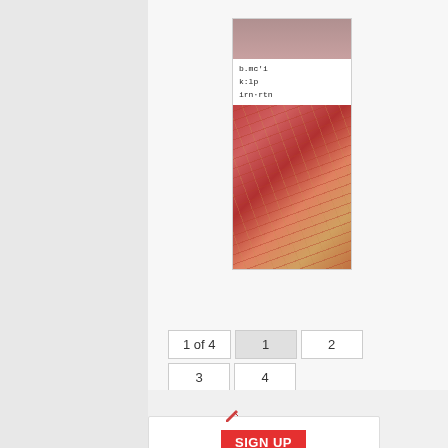[Figure (screenshot): A narrow vertical screenshot showing a webpage or application UI with blurred image at top, some text lines in the middle section, and a colorful diagonal-striped image at bottom resembling a market or street scene.]
1 of 4
1
2
3
4
Next »
SIGN UP